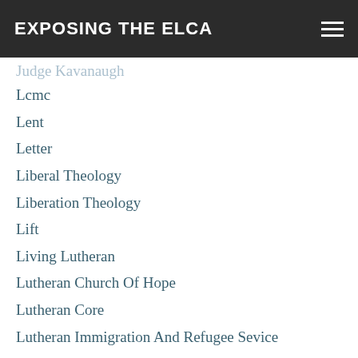EXPOSING THE ELCA
Judge Kavanaugh
Lcmc
Lent
Letter
Liberal Theology
Liberation Theology
Lift
Living Lutheran
Lutheran Church Of Hope
Lutheran Core
Lutheran Immigration And Refugee Sevice
Lutheran Social Services
LWF
Mainline Protestant
Mantra
Marcus Borg
Martin Luther
Masterpiece Cake Shop